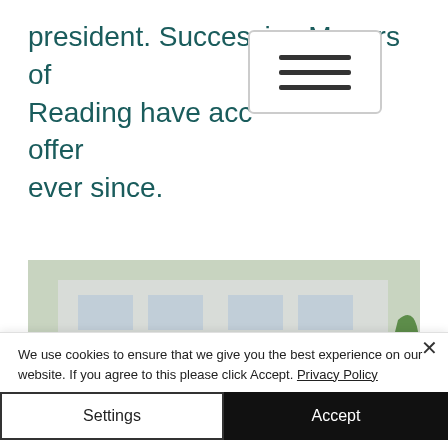president. Successive Mayors of Reading have accopted the offer ever since.
[Figure (photo): Garden courtyard with large green arched hedge/topiary and a red/rust-colored sculpture in the center, in front of a modern building with large windows. Various plants and shrubs in the foreground.]
We use cookies to ensure that we give you the best experience on our website. If you agree to this please click Accept. Privacy Policy
Settings
Accept